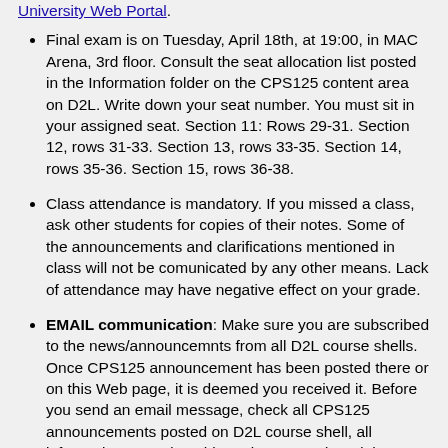University Web Portal.
Final exam is on Tuesday, April 18th, at 19:00, in MAC Arena, 3rd floor. Consult the seat allocation list posted in the Information folder on the CPS125 content area on D2L. Write down your seat number. You must sit in your assigned seat. Section 11: Rows 29-31. Section 12, rows 31-33. Section 13, rows 33-35. Section 14, rows 35-36. Section 15, rows 36-38.
Class attendance is mandatory. If you missed a class, ask other students for copies of their notes. Some of the announcements and clarifications mentioned in class will not be comunicated by any other means. Lack of attendance may have negative effect on your grade.
EMAIL communication: Make sure you are subscribed to the news/announcemnts from all D2L course shells. Once CPS125 announcement has been posted there or on this Web page, it is deemed you received it. Before you send an email message, check all CPS125 announcements posted on D2L course shell, all information posted on this Web page and read the official course management form. If your question has been already answered, you may not receive an individual reply. You should send an email only from your